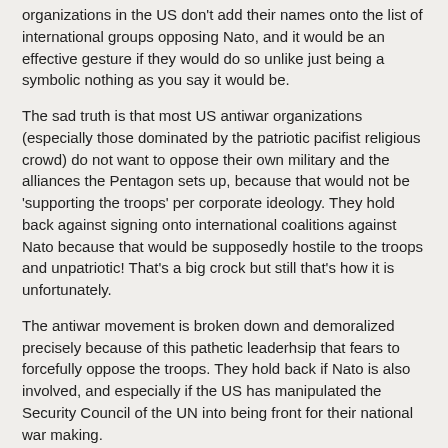organizations in the US don't add their names onto the list of international groups opposing Nato, and it would be an effective gesture if they would do so unlike just being a symbolic nothing as you say it would be.
The sad truth is that most US antiwar organizations (especially those dominated by the patriotic pacifist religious crowd) do not want to oppose their own military and the alliances the Pentagon sets up, because that would not be 'supporting the troops' per corporate ideology. They hold back against signing onto international coalitions against Nato because that would be supposedly hostile to the troops and unpatriotic! That's a big crock but still that's how it is unfortunately.
The antiwar movement is broken down and demoralized precisely because of this pathetic leaderhsip that fears to forcefully oppose the troops. They hold back if Nato is also involved, and especially if the US has manipulated the Security Council of the UN into being front for their national war making.
It is simply time for the more secular Left to stop this pacifist religious nonsense of giving free pass to groups like the UN and Nato. Even if the Quakers and Unitarians and Gandhi addicts remain stalled and never mention them negatively.